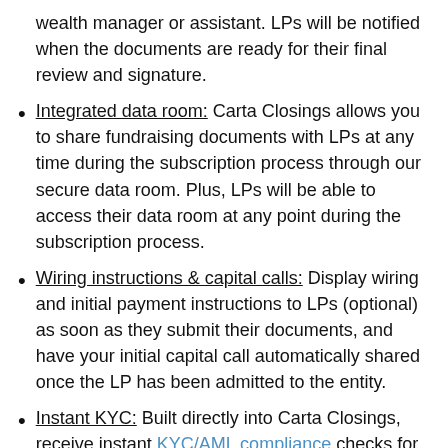wealth manager or assistant. LPs will be notified when the documents are ready for their final review and signature.
Integrated data room: Carta Closings allows you to share fundraising documents with LPs at any time during the subscription process through our secure data room. Plus, LPs will be able to access their data room at any point during the subscription process.
Wiring instructions & capital calls: Display wiring and initial payment instructions to LPs (optional) as soon as they submit their documents, and have your initial capital call automatically shared once the LP has been admitted to the entity.
Instant KYC: Built directly into Carta Closings, receive instant KYC/AML compliance checks for your LPs (optional).